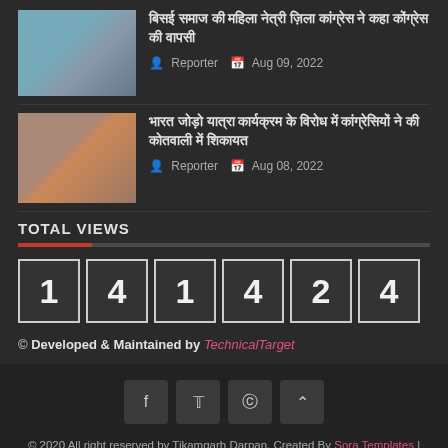[Figure (photo): Thumbnail image of a crowd/group of people outdoors]
Hindi news headline 1 - Reporter, Aug 09, 2022
[Figure (photo): Thumbnail image of a crowd/group with flags]
Hindi news headline 2 - Reporter, Aug 08, 2022
TOTAL VIEWS
141424
© Developed & Maintained by TechnicalTarget
© 2020 All right reserved by Tikamgarh Darpan. Created By Sora Templates | Distributed By Gooyaabi Templates